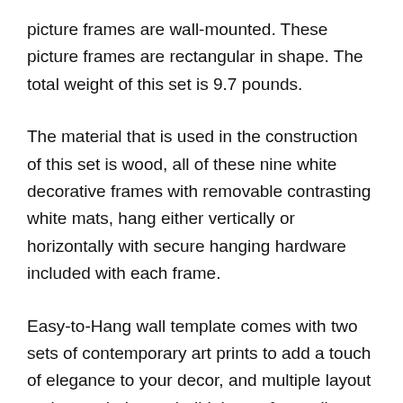picture frames are wall-mounted. These picture frames are rectangular in shape. The total weight of this set is 9.7 pounds.
The material that is used in the construction of this set is wood, all of these nine white decorative frames with removable contrasting white mats, hang either vertically or horizontally with secure hanging hardware included with each frame.
Easy-to-Hang wall template comes with two sets of contemporary art prints to add a touch of elegance to your decor, and multiple layout options to help you build the perfect gallery wall and saves the hassle of measuring and framing.